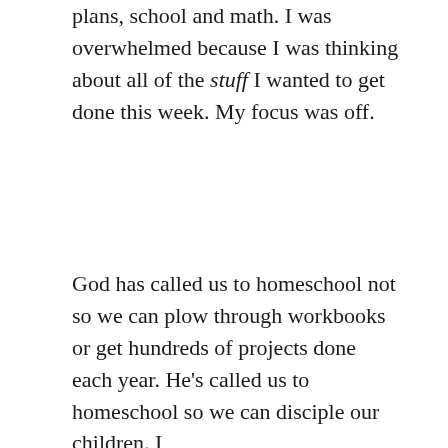plans, school and math. I was overwhelmed because I was thinking about all of the stuff I wanted to get done this week. My focus was off.
God has called us to homeschool not so we can plow through workbooks or get hundreds of projects done each year. He's called us to homeschool so we can disciple our children. I